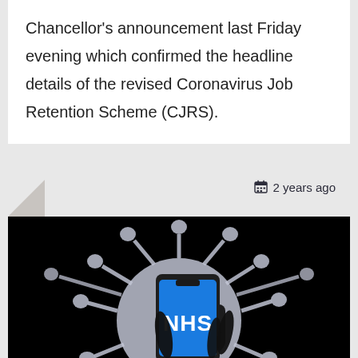Chancellor's announcement last Friday evening which confirmed the headline details of the revised Coronavirus Job Retention Scheme (CJRS).
2 years ago
[Figure (photo): A hand holding a smartphone displaying the NHS blue logo, set against a black background with a large coronavirus particle silhouette (spiky ball shape) behind it, rendered in pale blue-grey.]